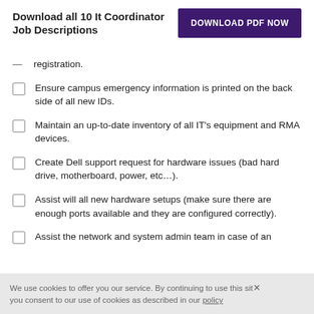Download all 10 It Coordinator Job Descriptions
registration.
Ensure campus emergency information is printed on the back side of all new IDs.
Maintain an up-to-date inventory of all IT's equipment and RMA devices.
Create Dell support request for hardware issues (bad hard drive, motherboard, power, etc...).
Assist will all new hardware setups (make sure there are enough ports available and they are configured correctly).
Assist the network and system admin team in case of an
We use cookies to offer you our service. By continuing to use this site you consent to our use of cookies as described in our policy